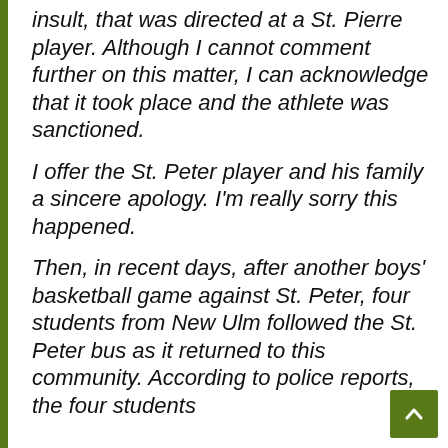insult, that was directed at a St. Pierre player. Although I cannot comment further on this matter, I can acknowledge that it took place and the athlete was sanctioned.
I offer the St. Peter player and his family a sincere apology. I'm really sorry this happened.
Then, in recent days, after another boys' basketball game against St. Peter, four students from New Ulm followed the St. Peter bus as it returned to this community. According to police reports, the four students